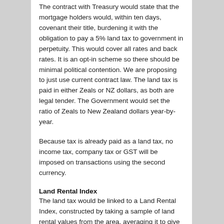The contract with Treasury would state that the mortgage holders would, within ten days, covenant their title, burdening it with the obligation to pay a 5% land tax to government in perpetuity. This would cover all rates and back rates. It is an opt-in scheme so there should be minimal political contention. We are proposing to just use current contract law. The land tax is paid in either Zeals or NZ dollars, as both are legal tender. The Government would set the ratio of Zeals to New Zealand dollars year-by-year.
Because tax is already paid as a land tax, no income tax, company tax or GST will be imposed on transactions using the second currency.
Land Rental Index
The land tax would be linked to a Land Rental Index, constructed by taking a sample of land rental values from the area, averaging it to give it a value of 100. Then the next year, it would go up or down a fraction, but generally it would be very little. Land rental values are very stable. Big movements would occur only if a region was serviced